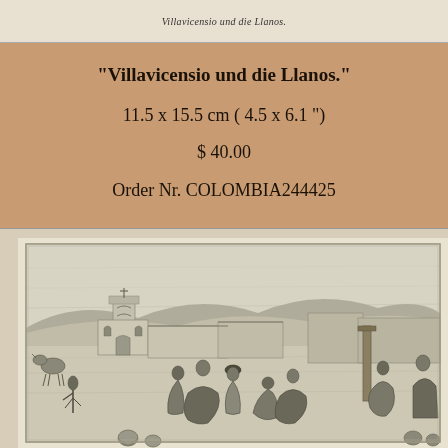[Figure (screenshot): Thumbnail strip showing a small preview of the engraving with German caption 'Villavicensio und die Llanos.']
Villavicensio und die Llanos.
"Villavicensio und die Llanos."
11.5 x 15.5 cm ( 4.5 x 6.1 ")
$ 40.00
Order Nr. COLOMBIA244425
[Figure (illustration): Historical engraving/print depicting a scene from Villavicensio, Colombia. Shows a town square with a church bell tower in the background, colonial-style buildings, and a crowd of people in the foreground engaged in market or daily activities. The scene is rendered in black and white engraving style typical of 19th century prints.]